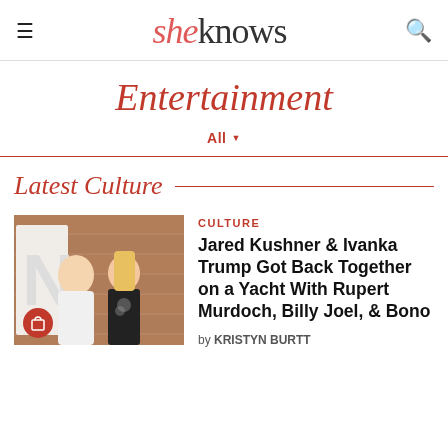sheknows
Entertainment
All ▼
Latest Culture
[Figure (photo): Photo of Jared Kushner and Ivanka Trump standing together, man in white shirt and woman in black floral dress, wooden background]
CULTURE
Jared Kushner & Ivanka Trump Got Back Together on a Yacht With Rupert Murdoch, Billy Joel, & Bono
by KRISTYN BURTT